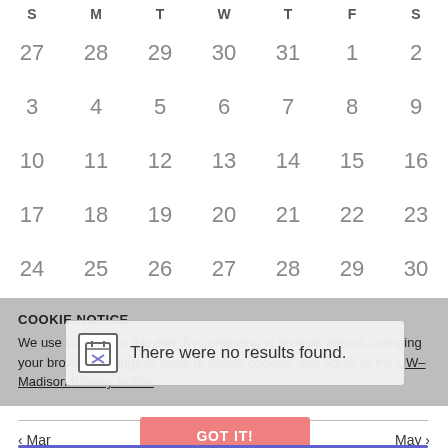| S | M | T | W | T | F | S |
| --- | --- | --- | --- | --- | --- | --- |
| 27 | 28 | 29 | 30 | 31 | 1 | 2 |
| 3 | 4 | 5 | 6 | 7 | 8 | 9 |
| 10 | 11 | 12 | 13 | 14 | 15 | 16 |
| 17 | 18 | 19 | 20 | 21 | 22 | 23 |
| 24 | 25 | 26 | 27 | 28 | 29 | 30 |
COOKIE NOTICE
We use cookies on this site. By continuing to browse without changing your browser settings to block or delete cookies, you agree to the UW–Madison Privacy Notice.
There were no results found.
< Mar
Today
May >
GOT IT!